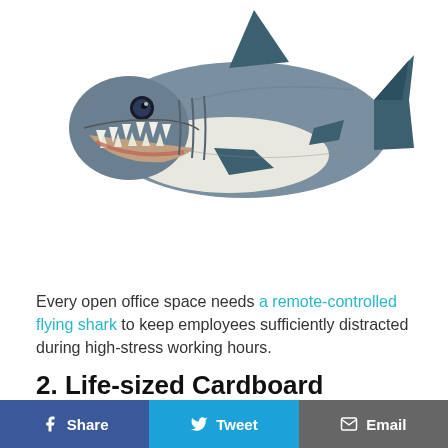[Figure (photo): A remote-controlled flying shark balloon/toy, depicted floating in white space. The shark has realistic coloring with grey/blue on top, white on the belly, open mouth with teeth, and fins.]
Every open office space needs a remote-controlled flying shark to keep employees sufficiently distracted during high-stress working hours.
2. Life-sized Cardboard Cutouts of Beloved Former Employees
Share  Tweet  Email